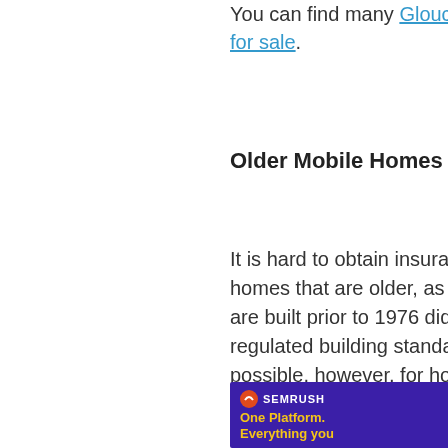You can find many Gloucester park homes for sale.
Older Mobile Homes
It is hard to obtain insurance for mobile homes that are older, as mobile homes that are built prior to 1976 did not have regulated building standards. It is still possible, however, for homeowners wishing to obtain such insurance to get in touch with an independent agent who should hopefully be able to assist.
[Figure (other): Semrush advertisement banner with purple background, logo, tagline 'One Platform. Everything you' and pink illustration]